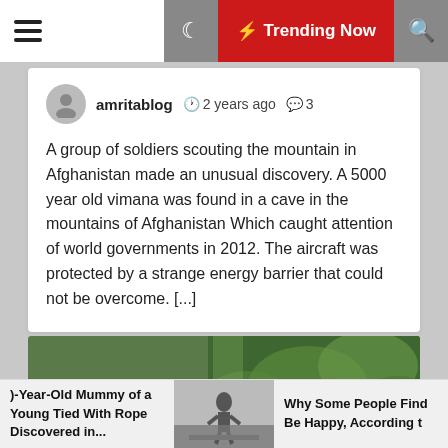☰  ☾  ⚡ Trending Now  🔍
amritablog  🕐 2 years ago  💬 3
A group of soldiers scouting the mountain in Afghanistan made an unusual discovery. A 5000 year old vimana was found in a cave in the mountains of Afghanistan Which caught attention of world governments in 2012. The aircraft was protected by a strange energy barrier that could not be overcome. [...]
[Figure (photo): Large rocky/mossy creature or sculpture covered in stone-like textured surface, photographed in a green forested background with bare tree branches visible]
)-Year-Old Mummy of a Young Tied With Rope Discovered in...
[Figure (photo): Small grayscale image of a person in a field]
Why Some People Find Be Happy, According t